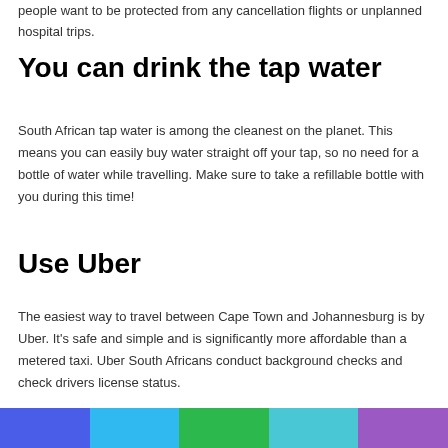people want to be protected from any cancellation flights or unplanned hospital trips.
You can drink the tap water
South African tap water is among the cleanest on the planet. This means you can easily buy water straight off your tap, so no need for a bottle of water while travelling. Make sure to take a refillable bottle with you during this time!
Use Uber
The easiest way to travel between Cape Town and Johannesburg is by Uber. It's safe and simple and is significantly more affordable than a metered taxi. Uber South Africans conduct background checks and check drivers license status.